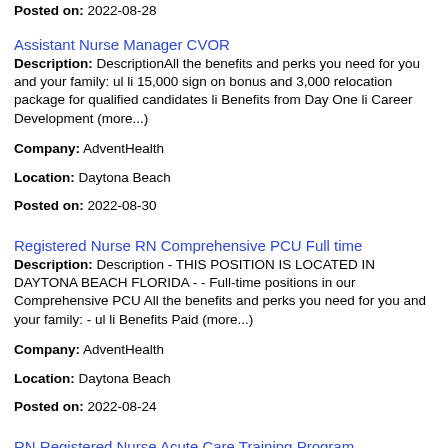Posted on: 2022-08-28
Assistant Nurse Manager CVOR
Description: DescriptionAll the benefits and perks you need for you and your family: ul li 15,000 sign on bonus and 3,000 relocation package for qualified candidates li Benefits from Day One li Career Development (more...)
Company: AdventHealth
Location: Daytona Beach
Posted on: 2022-08-30
Registered Nurse RN Comprehensive PCU Full time
Description: Description - THIS POSITION IS LOCATED IN DAYTONA BEACH FLORIDA - - Full-time positions in our Comprehensive PCU All the benefits and perks you need for you and your family: - ul li Benefits Paid (more...)
Company: AdventHealth
Location: Daytona Beach
Posted on: 2022-08-24
RN Registered Nurse Acute Care Training Program
Description: DescriptionRN Registered Nurse - Transition to Acute Care Training Program - PCU 7,500 Sign on Bonus Available to qualified RN candidates Location: Advent Health Daytona Beach - 301 Memorial Pkwy, Daytona (more...)
Company: AdventHealth
Location: Daytona Beach